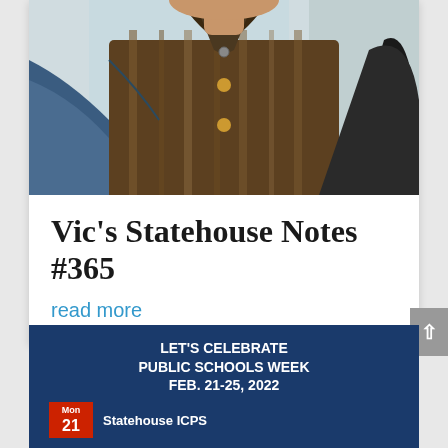[Figure (photo): Photo of a person from chest up, wearing a striped brown shirt and dark blazer jacket, cropped at the top of the head]
Vic's Statehouse Notes #365
read more
[Figure (infographic): Dark blue banner reading 'LET'S CELEBRATE PUBLIC SCHOOLS WEEK FEB. 21-25, 2022' with a red calendar icon and 'Statehouse ICPS' text]